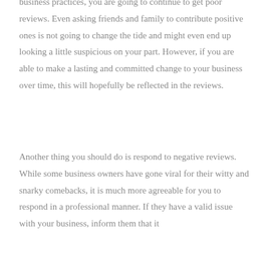business practices, you are going to continue to get poor reviews. Even asking friends and family to contribute positive ones is not going to change the tide and might even end up looking a little suspicious on your part. However, if you are able to make a lasting and committed change to your business over time, this will hopefully be reflected in the reviews.
Another thing you should do is respond to negative reviews. While some business owners have gone viral for their witty and snarky comebacks, it is much more agreeable for you to respond in a professional manner. If they have a valid issue with your business, inform them that it